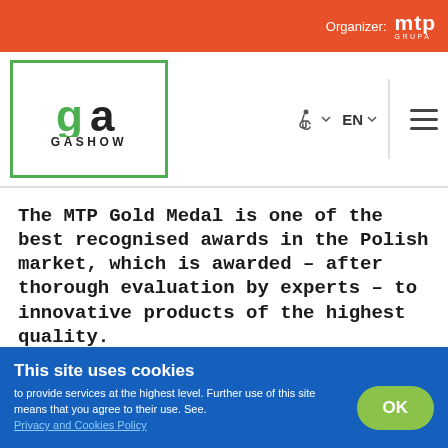Organizer: mtp GRUPA
[Figure (logo): GA SHOW logo with green border, green 'g' and dark 'a' letters, GASHOW text below]
The MTP Gold Medal is one of the best recognised awards in the Polish market, which is awarded – after thorough evaluation by experts – to innovative products of the highest quality.
[Figure (photo): Dark green blurred background image, partially visible]
This site uses cookies
to provide services at the highest level. Further use of this site means that you agree to their use. See. Privacy and Cookies Policy
OK